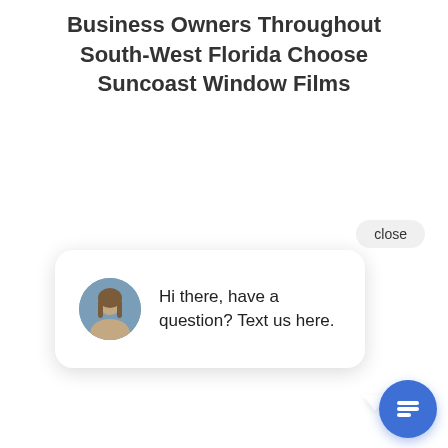Business Owners Throughout South-West Florida Choose Suncoast Window Films
[Figure (screenshot): Chat widget popup with a close button, a circular avatar photo of a woman, and the message 'Hi there, have a question? Text us here.' A blue circular chat button with a chat icon is visible at the bottom right.]